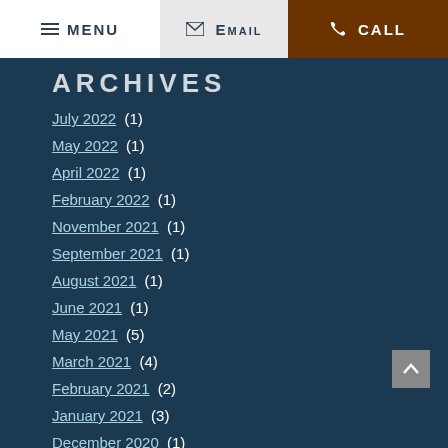MENU | EMAIL | CALL
ARCHIVES
July 2022 (1)
May 2022 (1)
April 2022 (1)
February 2022 (1)
November 2021 (1)
September 2021 (1)
August 2021 (1)
June 2021 (1)
May 2021 (5)
March 2021 (4)
February 2021 (2)
January 2021 (3)
December 2020 (1)